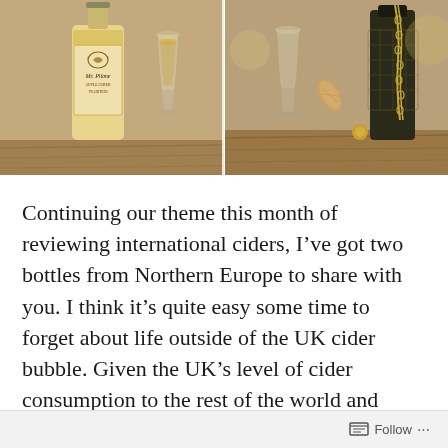[Figure (photo): Two-panel photo strip showing cider bottles and glasses on a wooden surface. Left panel: Mr. Plume cider bottle with label and a wine glass containing golden liquid. Right panel: Wine glass, cork, and decorative bottle with chain on wooden planks.]
Continuing our theme this month of reviewing international ciders, I've got two bottles from Northern Europe to share with you. I think it's quite easy some time to forget about life outside of the UK cider bubble. Given the UK's level of cider consumption to the rest of the world and some very fine drinks being produced, you can be forgiven for looking inwards a little. However, there are some outstanding drinks being produced
Follow ...